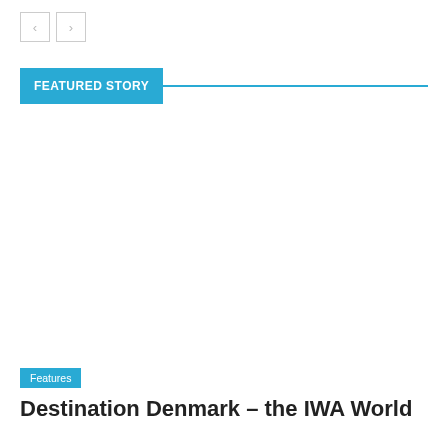< >
FEATURED STORY
[Figure (photo): Large featured image placeholder (white/blank area)]
Features
Destination Denmark – the IWA World